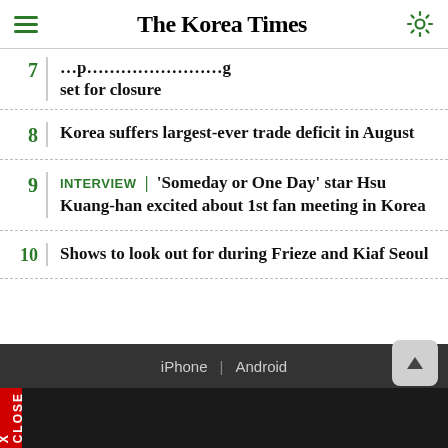The Korea Times
7 | [partially visible headline] set for closure
8 | Korea suffers largest-ever trade deficit in August
9 | INTERVIEW | 'Someday or One Day' star Hsu Kuang-han excited about 1st fan meeting in Korea
10 | Shows to look out for during Frieze and Kiaf Seoul
iPhone | Android